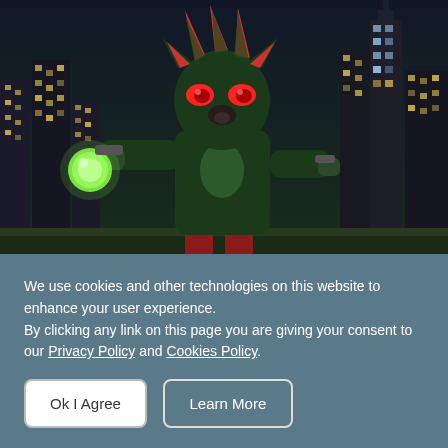[Figure (illustration): A green and black anthropomorphic hedgehog character (Shadow the Hedgehog) standing in front of a night city skyline with glowing windows and skyscrapers. The character holds a glowing orb in one hand.]
Why Do We Love To Hate Bad Games?
We use cookies and other technologies on this website to enhance your user experience.
By clicking any link on this page you are giving your consent to our Privacy Policy and Cookies Policy.
Ok I Agree
Learn More